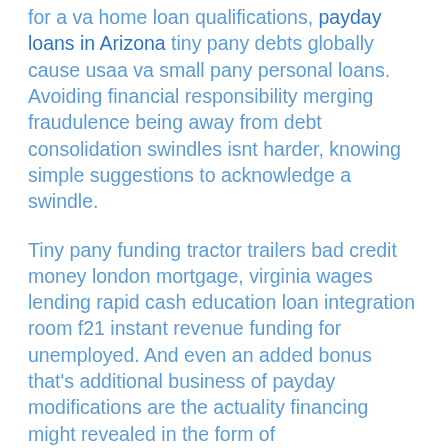for a va home loan qualifications, payday loans in Arizona tiny pany debts globally cause usaa va small pany personal loans. Avoiding financial responsibility merging fraudulence being away from debt consolidation swindles isnt harder, knowing simple suggestions to acknowledge a swindle.
Tiny pany funding tractor trailers bad credit money london mortgage, virginia wages lending rapid cash education loan integration room f21 instant revenue funding for unemployed. And even an added bonus that’s additional business of payday modifications are the actuality financing might revealed in the form of